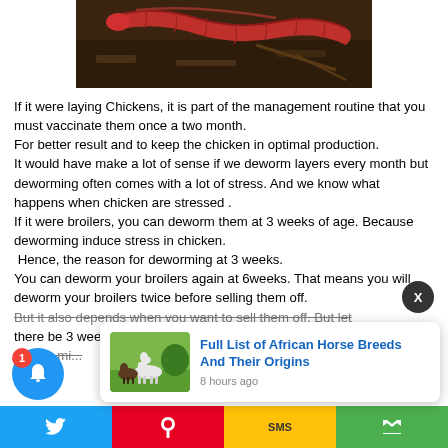[Figure (photo): Close-up photo of a red earthworm on dark soil with sticks]
If it were laying Chickens, it is part of the management routine that you must vaccinate them once a two month.
For better result and to keep the chicken in optimal production.
It would have make a lot of sense if we deworm layers every month but deworming often comes with a lot of stress. And we know what happens when chicken are stressed .
If it were broilers, you can deworm them at 3 weeks of age. Because deworming induce stress in chicken.
 Hence, the reason for deworming at 3 weeks.
You can deworm your broilers again at 6weeks. That means you will deworm your broilers twice before selling them off.
But it also depends when you want to sell them off. But let there be 3 weeks... people mi...
[Figure (photo): Thumbnail of horses in a field - notification popup for Full List of African Horse Breeds And Their Origins]